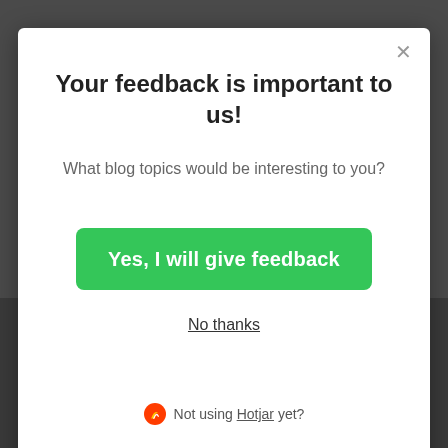Your feedback is important to us!
What blog topics would be interesting to you?
Yes, I will give feedback
No thanks
Not using Hotjar yet?
If you decline, your information won't be tracked when you visit this website. A single cookie will be used in your browser to remember your preference not to be tracked.
Accept
Decline